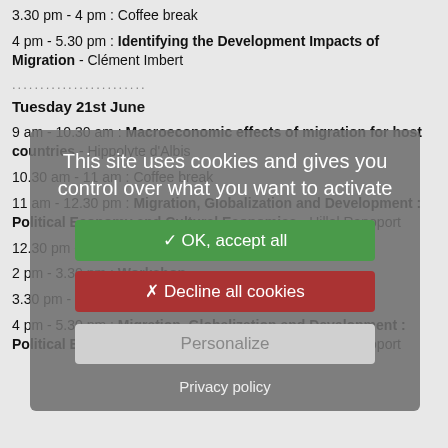3.30 pm - 4 pm : Coffee break
4 pm - 5.30 pm : Identifying the Development Impacts of Migration - Clément Imbert
........................
Tuesday 21st June
9 am - 10.30 am : Macroeconomic effects of migration for host countries - Hippolyte d'Albis
10.30 am - 11 am : Coffee break
11 am - 12.30 pm : Migration, Globalization and Development : Political Economy and Cultural Economics - Hillel Rapoport
12.30 pm - 2 pm : Lunch break
2 pm - 3.30 pm : Workshop
3.30 pm - 4 pm : Coffee break
4 pm - 5.30 pm : Migration, Globalization and Development : Political Economy and Cultural Economics - Hillel Rapoport
[Figure (screenshot): Cookie consent dialog overlay with buttons: OK accept all (green), Decline all cookies (red), Personalize (grey), and Privacy policy link]